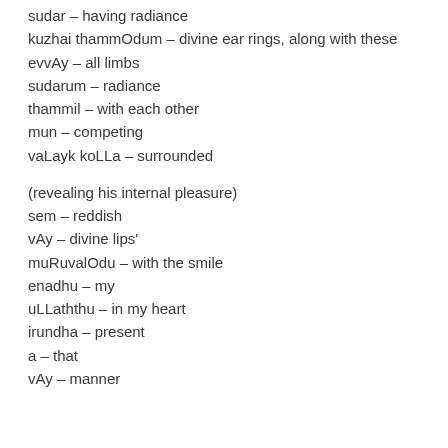sudar – having radiance
kuzhai thammOdum – divine ear rings, along with these
evvAy – all limbs
sudarum – radiance
thammil – with each other
mun – competing
vaLayk koLLa – surrounded
(revealing his internal pleasure)
sem – reddish
vAy – divine lips'
muRuvalOdu – with the smile
enadhu – my
uLLaththu – in my heart
irundha – present
a – that
vAy – manner